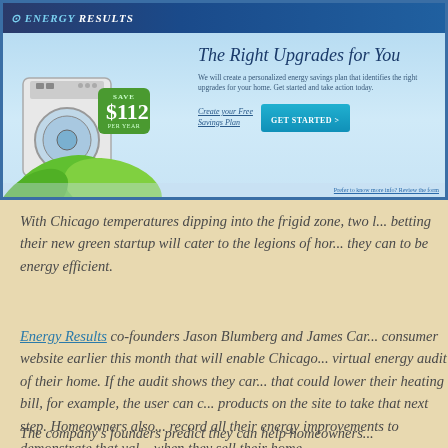[Figure (screenshot): Screenshot of Energy Results website showing appliance with green leaves, a savings badge of $112 per year, and a 'The Right Upgrades for You' headline with a 'GET STARTED' button. Blue and teal color scheme.]
With Chicago temperatures dipping into the frigid zone, two l... betting their new green startup will cater to the legions of hor... they can to be energy efficient.
Energy Results co-founders Jason Blumberg and James Car... consumer website earlier this month that will enable Chicago... virtual energy audit of their home. If the audit shows they car... that could lower their heating bill, for example, the user can c... products on the site to take that next step. Homeowners also... record all their energy improvements to demonstrate that val... when they sell their home.
The company's founders predict they can help homeowners...